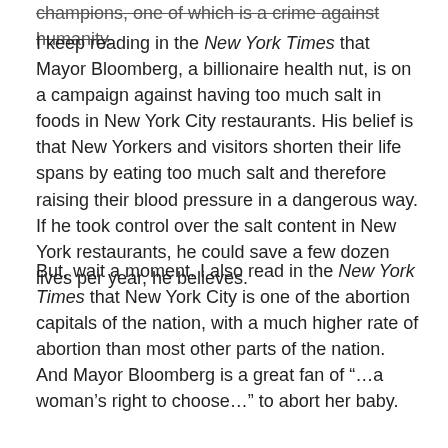champions, one of which is a crime against humanity.
I keep reading in the New York Times that Mayor Bloomberg, a billionaire health nut, is on a campaign against having too much salt in foods in New York City restaurants. His belief is that New Yorkers and visitors shorten their life spans by eating too much salt and therefore raising their blood pressure in a dangerous way. If he took control over the salt content in New York restaurants, he could save a few dozen lives per year, he believes.
But, wait a moment. I also read in the New York Times that New York City is one of the abortion capitals of the nation, with a much higher rate of abortion than most other parts of the nation. And Mayor Bloomberg is a great fan of “…a woman’s right to choose…” to abort her baby.